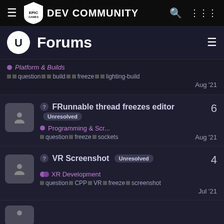Epic Games DEV COMMUNITY
Forums
Platform & Builds | question build freeze lighting-build | Aug '21
FRunnable thread freezes editor Unresolved | Programming & Scr... | question freeze sockets | Aug '21 | replies: 6
VR Screenshot Unresolved | XR Development | question CPP VR freeze screenshot | Jul '21 | replies: 4